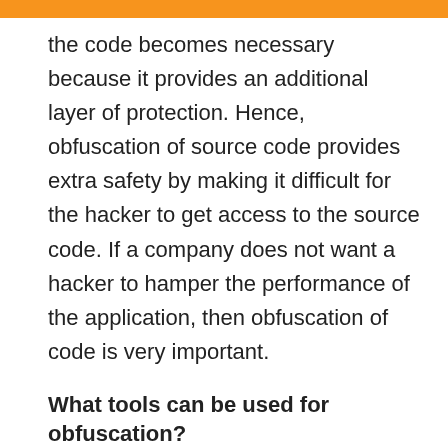the code becomes necessary because it provides an additional layer of protection. Hence, obfuscation of source code provides extra safety by making it difficult for the hacker to get access to the source code. If a company does not want a hacker to hamper the performance of the application, then obfuscation of code is very important.
What tools can be used for obfuscation?
PreEmptive DashO:-It includes a number of important features, such as rewriting the name, encryption of the strings, detection of errors, finding bugs, copywriting,